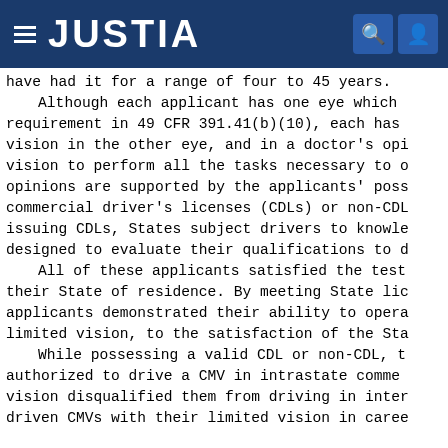JUSTIA
have had it for a range of four to 45 years.
    Although each applicant has one eye which requirement in 49 CFR 391.41(b)(10), each has vision in the other eye, and in a doctor's opi vision to perform all the tasks necessary to o opinions are supported by the applicants' poss commercial driver's licenses (CDLs) or non-CDL issuing CDLs, States subject drivers to knowle designed to evaluate their qualifications to d
    All of these applicants satisfied the test their State of residence. By meeting State lic applicants demonstrated their ability to opera limited vision, to the satisfaction of the Sta
    While possessing a valid CDL or non-CDL, t authorized to drive a CMV in intrastate comme vision disqualified them from driving in inter driven CMVs with their limited vision in care